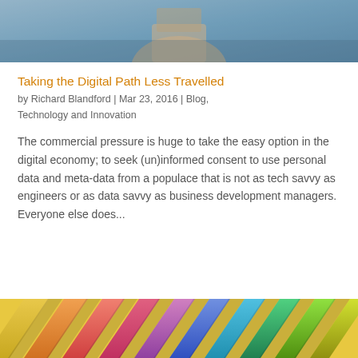[Figure (photo): Cropped photo of a person holding a smartphone, showing hands and partial body in muted blue-grey tones]
Taking the Digital Path Less Travelled
by Richard Blandford | Mar 23, 2016 | Blog, Technology and Innovation
The commercial pressure is huge to take the easy option in the digital economy; to seek (un)informed consent to use personal data and meta-data from a populace that is not as tech savvy as engineers or as data savvy as business development managers. Everyone else does...
[Figure (photo): Cropped photo of colorful pencils or crayons arranged diagonally, showing vivid colors including yellow, orange, red, blue, green]